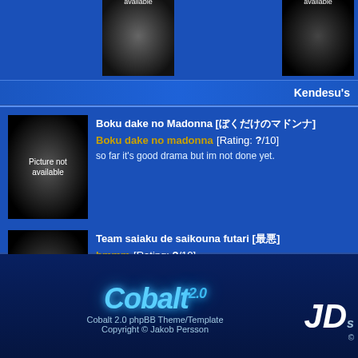[Figure (screenshot): Two partially visible thumbnail images at top of page labeled 'available']
Kendesu's
[Figure (photo): Picture not available thumbnail for Boku dake no Madonna]
Boku dake no Madonna [ぼくだけのマドンナ]
Boku dake no madonna [Rating: ?/10]
so far it's good drama but im not done yet.
[Figure (photo): Picture not available thumbnail for Team saiaku de saikouna futari]
Team saiaku de saikouna futari [最悪]
hmmm [Rating: ?/10]
i want this drama, but couldn't find it....
Cobalt 2.0 phpBB Theme/Template
Copyright © Jakob Persson